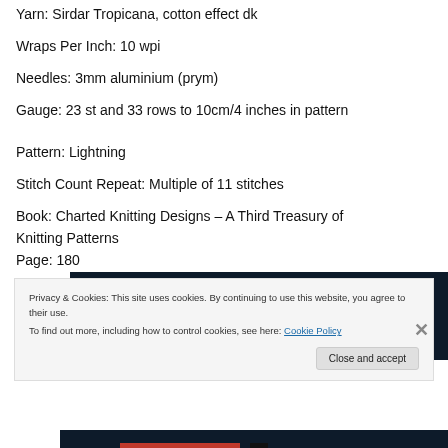Yarn: Sirdar Tropicana, cotton effect dk
Wraps Per Inch: 10 wpi
Needles: 3mm aluminium (prym)
Gauge: 23 st and 33 rows to 10cm/4 inches in pattern
Pattern: Lightning
Stitch Count Repeat: Multiple of 11 stitches
Book: Charted Knitting Designs – A Third Treasury of Knitting Patterns
Page: 180
[Figure (photo): Dark navy background book cover image with a pink/red horizontal bar and a light circular element on the right side.]
Privacy & Cookies: This site uses cookies. By continuing to use this website, you agree to their use.
To find out more, including how to control cookies, see here: Cookie Policy
Close and accept